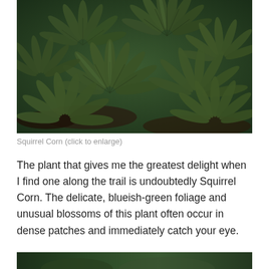[Figure (photo): Close-up photograph of Squirrel Corn plant foliage showing multiple palmately compound dark green leaves arranged in fan-like clusters against a dark background.]
Squirrel Corn (click to enlarge)
The plant that gives me the greatest delight when I find one along the trail is undoubtedly Squirrel Corn. The delicate, blueish-green foliage and unusual blossoms of this plant often occur in dense patches and immediately catch your eye.
[Figure (photo): Bottom portion of another photograph of Squirrel Corn plant, partially visible at the bottom of the page.]